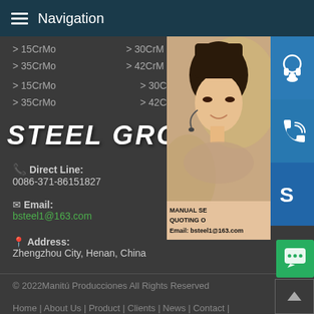Navigation
> 15CrMo
> 30CrMo
> 35CrMo
> 42CrMo
STEEL GROUP
Direct Line: 0086-371-86151827
Email: bsteel1@163.com
Address: Zhengzhou City, Henan, China
[Figure (photo): Customer service representative with headset, with overlaid text: MANUAL SE... QUOTING O... Email: bsteel1@163.com and blue contact icon buttons (headset, phone, Skype)]
© 2022Manitú Producciones All Rights Reserved
Home | About Us | Product | Clients | News | Contact |